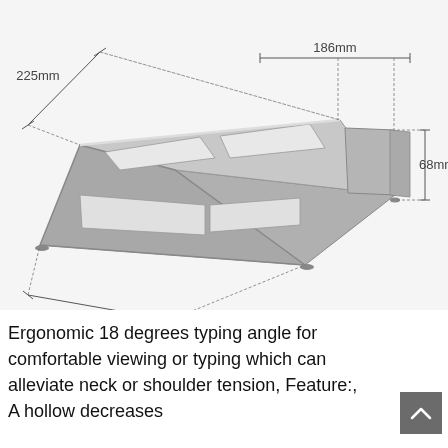[Figure (engineering-diagram): Aluminum laptop stand shown in 3D perspective with dimension annotations: 186mm (top width), 225mm (depth/length), 211mm (bottom width), 68mm (height). Stand is silver/gray color with open rectangular cutouts.]
Ergonomic 18 degrees typing angle for comfortable viewing or typing which can alleviate neck or shoulder tension, Feature:, A hollow decreases influences and the heat…